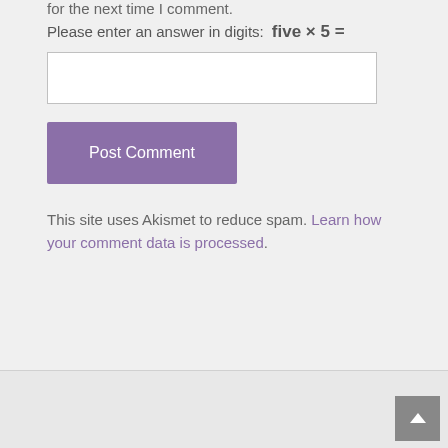for the next time I comment.
Please enter an answer in digits:  five × 5 =
Post Comment
This site uses Akismet to reduce spam. Learn how your comment data is processed.